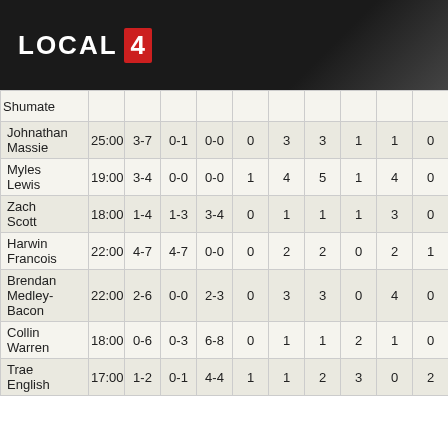[Figure (logo): LOCAL 4 logo with red number box on dark background]
| Player | MIN | FG | 3P | FT | OR | DR | REB | AST | PF | PTS |
| --- | --- | --- | --- | --- | --- | --- | --- | --- | --- | --- |
| Shumate |  |  |  |  |  |  |  |  |  |  |
| Johnathan Massie | 25:00 | 3-7 | 0-1 | 0-0 | 0 | 3 | 3 | 1 | 1 | 0 |
| Myles Lewis | 19:00 | 3-4 | 0-0 | 0-0 | 1 | 4 | 5 | 1 | 4 | 0 |
| Zach Scott | 18:00 | 1-4 | 1-3 | 3-4 | 0 | 1 | 1 | 1 | 3 | 0 |
| Harwin Francois | 22:00 | 4-7 | 4-7 | 0-0 | 0 | 2 | 2 | 0 | 2 | 1 |
| Brendan Medley-Bacon | 22:00 | 2-6 | 0-0 | 2-3 | 0 | 3 | 3 | 0 | 4 | 0 |
| Collin Warren | 18:00 | 0-6 | 0-3 | 6-8 | 0 | 1 | 1 | 2 | 1 | 0 |
| Trae English | 17:00 | 1-2 | 0-1 | 4-4 | 1 | 1 | 2 | 3 | 0 | 2 |